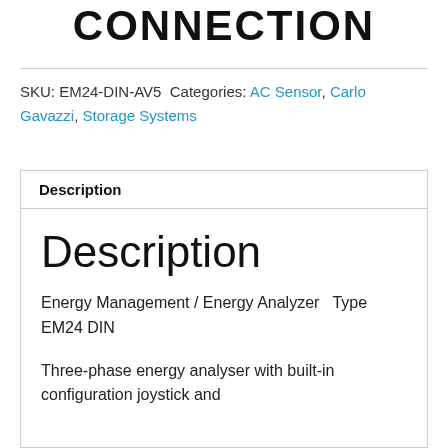CONNECTION
SKU: EM24-DIN-AV5 Categories: AC Sensor, Carlo Gavazzi, Storage Systems
Description
Description
Energy Management / Energy Analyzer   Type EM24 DIN
Three-phase energy analyser with built-in configuration joystick and